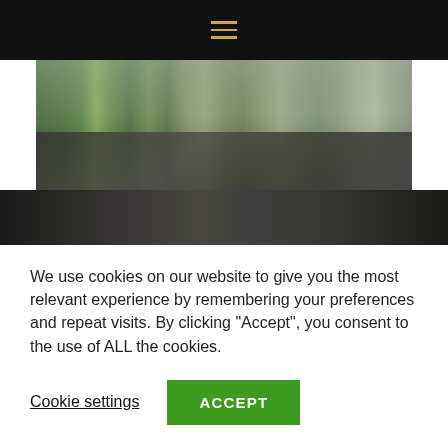Navigation menu (hamburger icon)
[Figure (photo): Panoramic photo of a green park area under a large overpass or elevated structure, with lush trees, a paved brick driveway/path, and garden landscaping. Dark structural columns or arches frame the scene.]
[Figure (photo): Dark strip showing what appears to be the bottom portion of another photo or background with dark diagonal shapes.]
We use cookies on our website to give you the most relevant experience by remembering your preferences and repeat visits. By clicking “Accept”, you consent to the use of ALL the cookies.
Cookie settings   ACCEPT